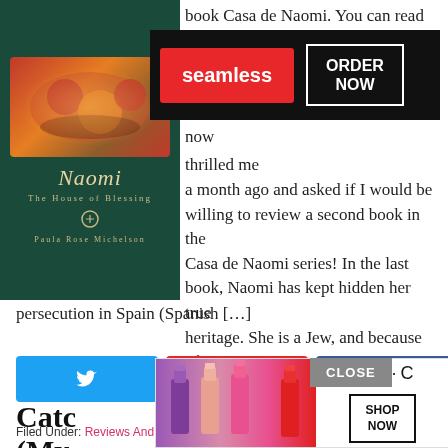[Figure (illustration): Book cover for 'Naomi: The House of Blessing' by Paula Rose Michelson, dark teal background with food imagery]
[Figure (screenshot): Seamless food delivery advertisement banner with red button and ORDER NOW button]
book Casa de Naomi. You can read now thrilled me a month ago and asked if I would be willing to review a second book in the Casa de Naomi series! In the last book, Naomi has kept hidden her true heritage. She is a Jew, and because of persecution in Spain (Spanish […]
[Figure (infographic): Social share buttons: Twitter, Pinterest (7), Facebook (2), total 9 SHARES]
Filed Under: Reviews And Giveaways
Tagged With: book reviews, books
Catc (My ...
[Figure (screenshot): MAC cosmetics advertisement with lipstick products and SHOP NOW button, with CLOSE button]